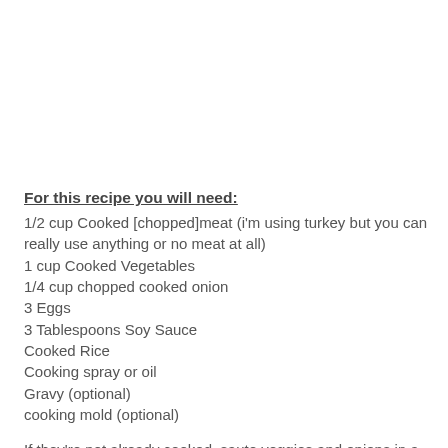For this recipe you will need:
1/2 cup Cooked [chopped]meat (i'm using turkey but you can really use anything or no meat at all)
1 cup Cooked Vegetables
1/4 cup chopped cooked onion
3 Eggs
3 Tablespoons Soy Sauce
Cooked Rice
Cooking spray or oil
Gravy (optional)
cooking mold (optional)
If they're not already cooked, saute veggies and onions in a